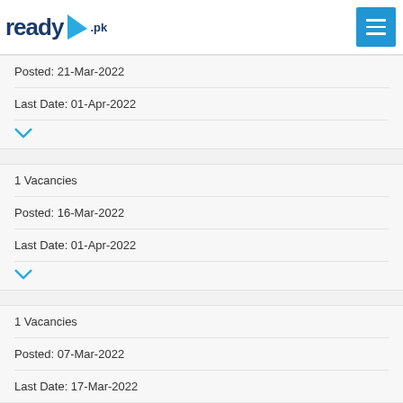ready.pk
Posted: 21-Mar-2022
Last Date: 01-Apr-2022
1 Vacancies
Posted: 16-Mar-2022
Last Date: 01-Apr-2022
1 Vacancies
Posted: 07-Mar-2022
Last Date: 17-Mar-2022